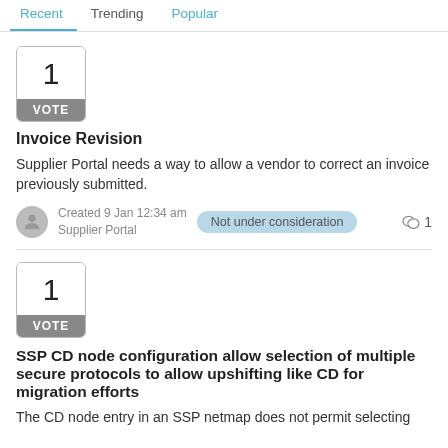Recent  Trending  Popular
[Figure (other): Vote box showing number 1 with VOTE label]
Invoice Revision
Supplier Portal needs a way to allow a vendor to correct an invoice previously submitted.
Created 9 Jan 12:34 am
Supplier Portal
Not under consideration
1
[Figure (other): Vote box showing number 1 with VOTE label]
SSP CD node configuration allow selection of multiple secure protocols to allow upshifting like CD for migration efforts
The CD node entry in an SSP netmap does not permit selecting